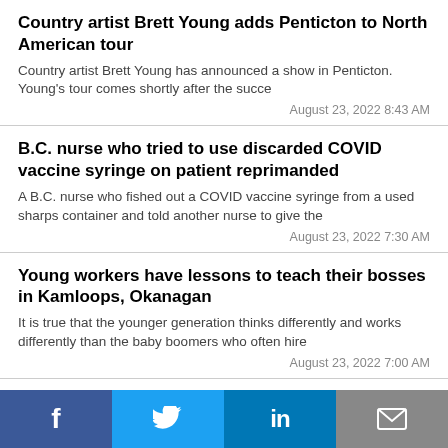Country artist Brett Young adds Penticton to North American tour
Country artist Brett Young has announced a show in Penticton. Young's tour comes shortly after the succe
August 23, 2022 8:43 AM
B.C. nurse who tried to use discarded COVID vaccine syringe on patient reprimanded
A B.C. nurse who fished out a COVID vaccine syringe from a used sharps container and told another nurse to give the
August 23, 2022 7:30 AM
Young workers have lessons to teach their bosses in Kamloops, Okanagan
It is true that the younger generation thinks differently and works differently than the baby boomers who often hire
August 23, 2022 7:00 AM
Three fatal crashes on West Kelowna road has resident calling for change
A West Kelowna resident...
[Figure (other): Social media share bar with Facebook, Twitter, LinkedIn, and email icons]